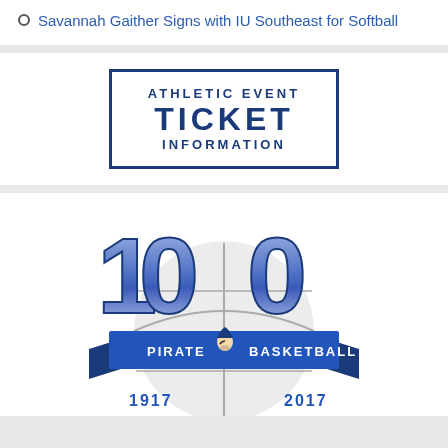Savannah Gaither Signs with IU Southeast for Softball
[Figure (logo): Athletic Event Ticket Information box with blue border and bold blue text]
[Figure (logo): 100 Pirate Basketball centennial logo with blue '100' numerals, pirate mascot, banner reading 'PIRATE BASKETBALL', and years 1917-2017 on a basketball graphic]